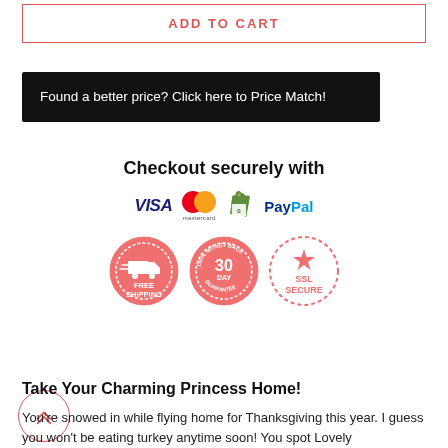ADD TO CART
Found a better price? Click here to Price Match!
Checkout securely with
[Figure (logo): Payment method logos: VISA, Mastercard, Shopify, PayPal]
[Figure (infographic): Three circular trust badges: Free Shipping, 30 Day 100% Money Back Guarantee, SSL Secure]
Take Your Charming Princess Home!
You're snowed in while flying home for Thanksgiving this year. I guess you won't be eating turkey anytime soon! You spot Lovely